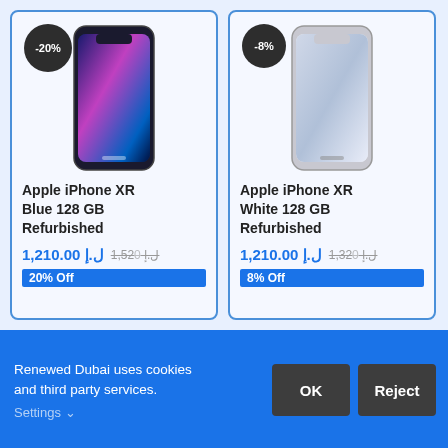[Figure (photo): Apple iPhone XR Blue product image with -20% discount badge]
Apple iPhone XR Blue 128 GB Refurbished
د.إ 1,210.00  د.إ 1,520  20% Off
[Figure (photo): Apple iPhone XR White product image with -8% discount badge]
Apple iPhone XR White 128 GB Refurbished
د.إ 1,210.00  د.إ 1,320  8% Off
Renewed Dubai uses cookies and third party services. Settings ∨